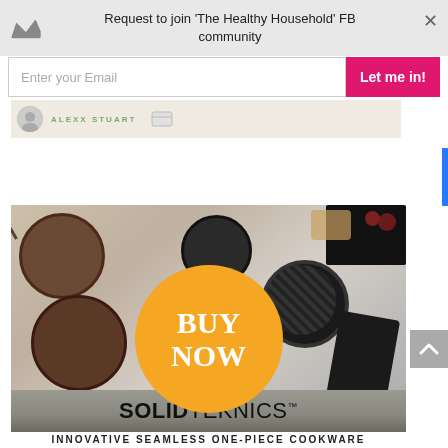Request to join 'The Healthy Household' FB community
Enter your Email
Let me in!
[Figure (photo): Partial view of a banner showing 'ALEXX STUART' text with cookware imagery]
[Figure (photo): Overhead flatlay of various cast iron and non-stick pans and cookware on a stone tile background, with a large orange circle overlay reading 'BUY NOW']
[Figure (infographic): Brand bar reading 'SOLIDTEKNICS' with trademark symbol, dark textured background]
INNOVATIVE SEAMLESS ONE-PIECE COOKWARE